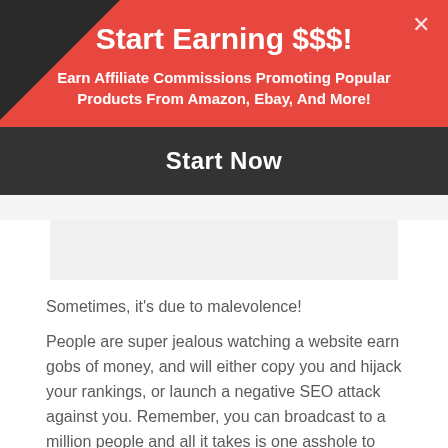Start Earning $$$!
Earn Affiliate Commissions Promoting Popular Products From Amazon, Ebay, And More!
Start Now
Sometimes, it's due to malevolence!
People are super jealous watching a website earn gobs of money, and will either copy you and hijack your rankings, or launch a negative SEO attack against you. Remember, you can broadcast to a million people and all it takes is one asshole to spend a couple hundred dollars on cheap backlinks from Fiverr to try and tank your site. Don't